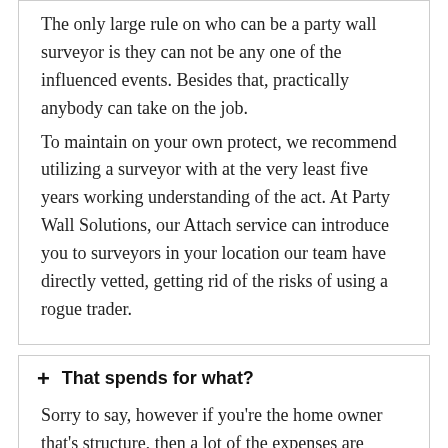The only large rule on who can be a party wall surveyor is they can not be any one of the influenced events. Besides that, practically anybody can take on the job. To maintain on your own protect, we recommend utilizing a surveyor with at the very least five years working understanding of the act. At Party Wall Solutions, our Attach service can introduce you to surveyors in your location our team have directly vetted, getting rid of the risks of using a rogue trader.
+ That spends for what?
Sorry to say, however if you're the home owner that's structure, then a lot of the expenses are